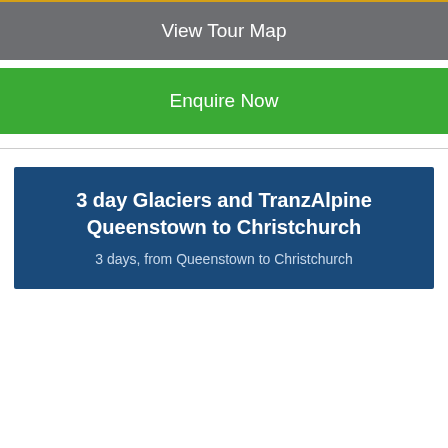View Tour Map
Enquire Now
3 day Glaciers and TranzAlpine Queenstown to Christchurch
3 days, from Queenstown to Christchurch